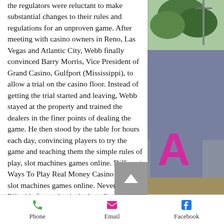the regulators were reluctant to make substantial changes to their rules and regulations for an unproven game. After meeting with casino owners in Reno, Las Vegas and Atlantic City, Webb finally convinced Barry Morris, Vice President of Grand Casino, Gulfport (Mississippi), to allow a trial on the casino floor. Instead of getting the trial started and leaving, Webb stayed at the property and trained the dealers in the finer points of dealing the game. He then stood by the table for hours each day, convincing players to try the game and teaching them the simple rules of play, slot machines games online. Different Ways To Play Real Money Casino Games, slot machines games online. Never been to Biloxi before, what is the best Casino in your opinion and If you like cheap table games,
[Figure (photo): Photograph of a car with a pink/magenta letter A sticker and partial text 'UTE' visible, parked outdoors with trees and a pole in background]
Phone   Email   Facebook